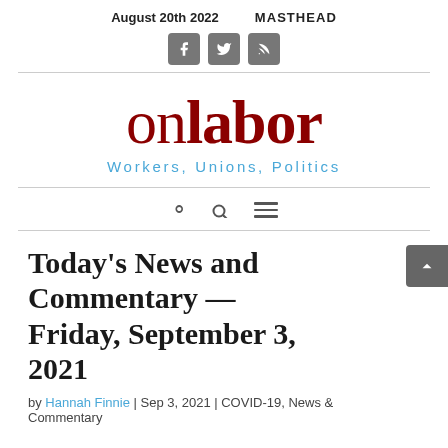August 20th 2022    MASTHEAD
[Figure (other): Social media icons: Facebook, Twitter, RSS feed]
[Figure (logo): onlabor logo with tagline: Workers, Unions, Politics]
[Figure (other): Navigation bar with search icon and hamburger menu icon]
Today's News and Commentary — Friday, September 3, 2021
by Hannah Finnie | Sep 3, 2021 | COVID-19, News & Commentary